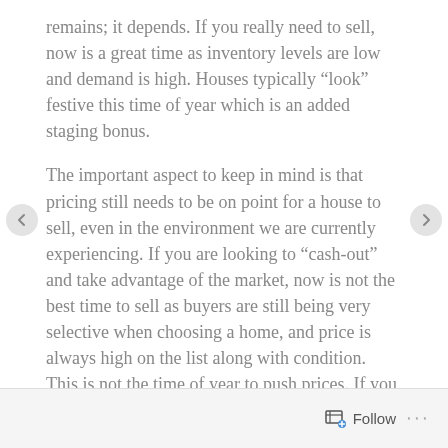remains; it depends. If you really need to sell, now is a great time as inventory levels are low and demand is high. Houses typically “look” festive this time of year which is an added staging bonus.
The important aspect to keep in mind is that pricing still needs to be on point for a house to sell, even in the environment we are currently experiencing. If you are looking to “cash-out” and take advantage of the market, now is not the best time to sell as buyers are still being very selective when choosing a home, and price is always high on the list along with condition. This is not the time of year to push prices. If you want people coming through during the holidays, it is 100% up to you. So, if you are considering a move now or in the future, please call me.  We can get you positioned for success.
Follow ...